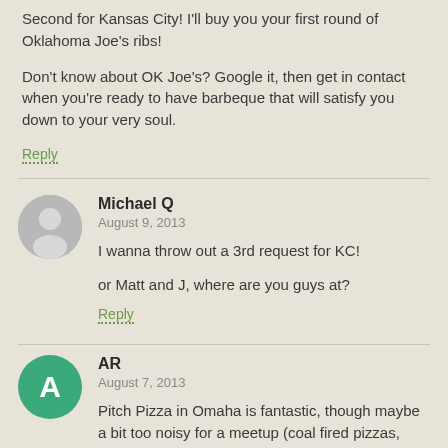Second for Kansas City! I'll buy you your first round of Oklahoma Joe's ribs!
Don't know about OK Joe's? Google it, then get in contact when you're ready to have barbeque that will satisfy you down to your very soul.
Reply
Michael Q
August 9, 2013
I wanna throw out a 3rd request for KC!
or Matt and J, where are you guys at?
Reply
AR
August 7, 2013
Pitch Pizza in Omaha is fantastic, though maybe a bit too noisy for a meetup (coal fired pizzas, crazy good). Brothers Lounge is also a good spot, more of a pub/bar than restaurant, but cheap drink and a laid back vibe.
Reply